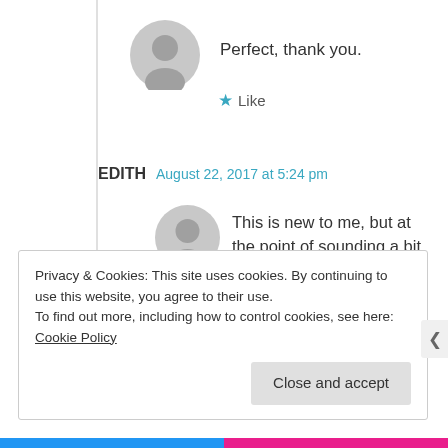Perfect, thank you.
★ Like
EDITH  August 22, 2017 at 5:24 pm
This is new to me, but at the point of sounding a bit ignorant, shea butter?…is it a lotion? I want to make sure I don't get something wrong 😊
Privacy & Cookies: This site uses cookies. By continuing to use this website, you agree to their use.
To find out more, including how to control cookies, see here: Cookie Policy
Close and accept